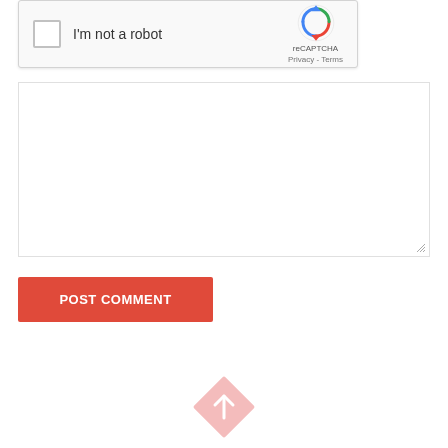[Figure (screenshot): reCAPTCHA widget with checkbox labeled 'I'm not a robot' and reCAPTCHA logo with Privacy and Terms links]
[Figure (screenshot): Empty text area input field with resize handle in bottom-right corner]
POST COMMENT
[Figure (other): Diamond-shaped back-to-top button with upward arrow, light pink/red color]